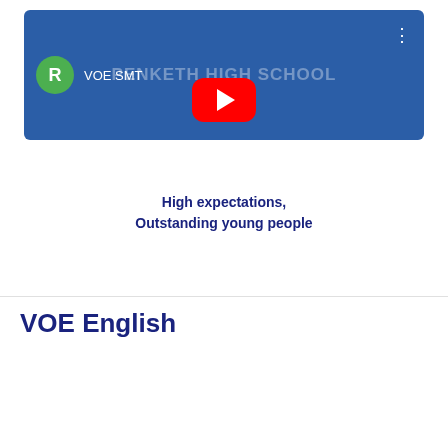[Figure (screenshot): YouTube video card for VOE SMT channel showing Penketh High School video thumbnail with blue background and play button]
High expectations,
Outstanding young people
VOE English
[Figure (screenshot): YouTube video card for VOE English channel showing Penketh High School video thumbnail with blue background]